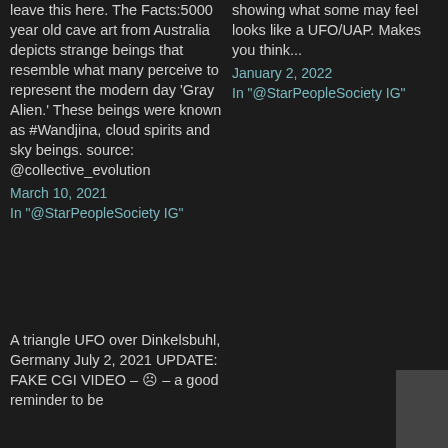leave this here. The Facts:5000 year old cave art from Australia depicts strange beings that resemble what many perceive to represent the modern day 'Gray Alien.' These beings were known as #Wandjina, cloud spirits and sky beings. source: @collective_evolution
March 10, 2021
In "@StarPeopleSociety IG"
showing what some may feel looks like a UFO/UAP. Makes you think...
January 2, 2022
In "@StarPeopleSociety IG"
A triangle UFO over Dinkelsbuhl, Germany July 2, 2021 UPDATE: FAKE CGI VIDEO – ☹ – a good reminder to be